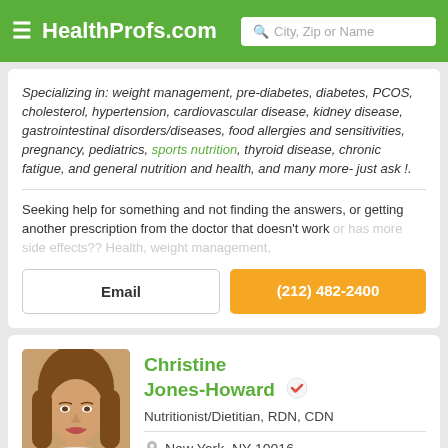HealthProfs.com
Specializing in: weight management, pre-diabetes, diabetes, PCOS, cholesterol, hypertension, cardiovascular disease, kidney disease, gastrointestinal disorders/diseases, food allergies and sensitivities, pregnancy, pediatrics, sports nutrition, thyroid disease, chronic fatigue, and general nutrition and health, and many more- just ask !.
Seeking help for something and not finding the answers, or getting another prescription from the doctor that doesn't work or has more side effects?? Health, weight management,
Email
(212) 482-2400
[Figure (photo): Profile photo of Christine Jones-Howard, a woman with brown hair, smiling]
Christine Jones-Howard
Nutritionist/Dietitian, RDN, CDN
New York, NY 10016